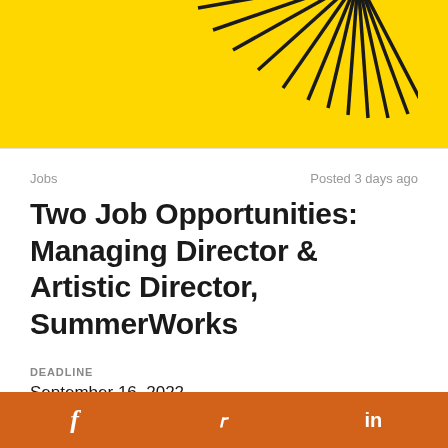[Figure (illustration): Yellow banner background with a partial sunburst/starburst graphic in black lines radiating from the top-right area, and partial text at the very top]
Jobs  |  Posted 3 days ago
Two Job Opportunities: Managing Director & Artistic Director, SummerWorks
DEADLINE
September 16, 2022
VENUE
SummerWorks
Toronto, ON
f  Twitter bird  in